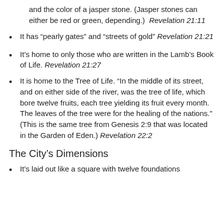and the color of a jasper stone. (Jasper stones can either be red or green, depending.) Revelation 21:11
It has “pearly gates” and “streets of gold” Revelation 21:21
It’s home to only those who are written in the Lamb’s Book of Life. Revelation 21:27
It is home to the Tree of Life. “In the middle of its street, and on either side of the river, was the tree of life, which bore twelve fruits, each tree yielding its fruit every month. The leaves of the tree were for the healing of the nations.” (This is the same tree from Genesis 2:9 that was located in the Garden of Eden.) Revelation 22:2
The City’s Dimensions
It’s laid out like a square with twelve foundations